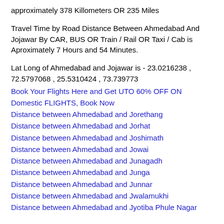approximately 378 Killometers OR 235 Miles
Travel Time by Road Distance Between Ahmedabad And Jojawar By CAR, BUS OR Train / Rail OR Taxi / Cab is Aproximately 7 Hours and 54 Minutes.
Lat Long of Ahmedabad and Jojawar is - 23.0216238 , 72.5797068 , 25.5310424 , 73.739773
Book Your Flights Here and Get UTO 60% OFF ON Domestic FLIGHTS, Book Now
Distance between Ahmedabad and Jorethang
Distance between Ahmedabad and Jorhat
Distance between Ahmedabad and Joshimath
Distance between Ahmedabad and Jowai
Distance between Ahmedabad and Junagadh
Distance between Ahmedabad and Junga
Distance between Ahmedabad and Junnar
Distance between Ahmedabad and Jwalamukhi
Distance between Ahmedabad and Jyotiba Phule Nagar